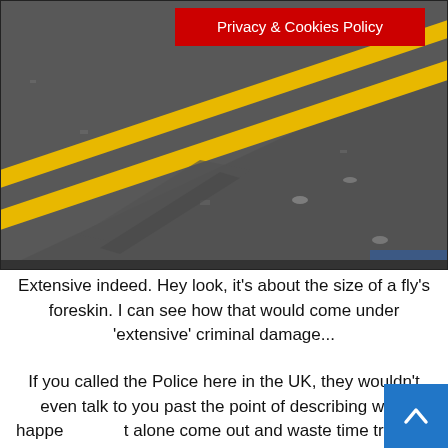[Figure (photo): Close-up photograph of a road surface showing double yellow lines painted on asphalt, with apparent minor damage or marks on the road surface. A red banner overlay reads 'Privacy & Cookies Policy' in white text at the top of the image.]
Extensive indeed. Hey look, it's about the size of a fly's foreskin. I can see how that would come under 'extensive' criminal damage...
If you called the Police here in the UK, they wouldn't even talk to you past the point of describing what happened, let alone come out and waste time trawling the CCTV